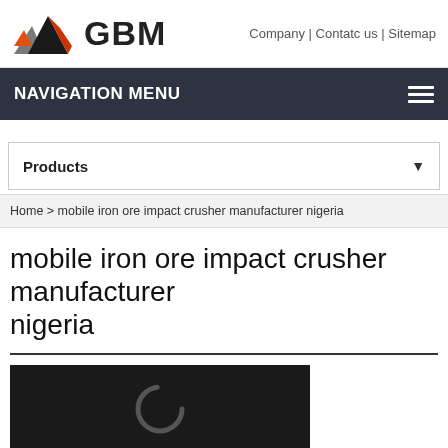Company | Contatc us | Sitemap
[Figure (logo): GBM company logo with mountain/triangle graphic in orange, red, and black, with bold text GBM]
NAVIGATION MENU
Products ▼
Home > mobile iron ore impact crusher manufacturer nigeria
mobile iron ore impact crusher manufacturer nigeria
[Figure (photo): Dark background image with a loading spinner (letter C shape) visible, indicating a loading image]